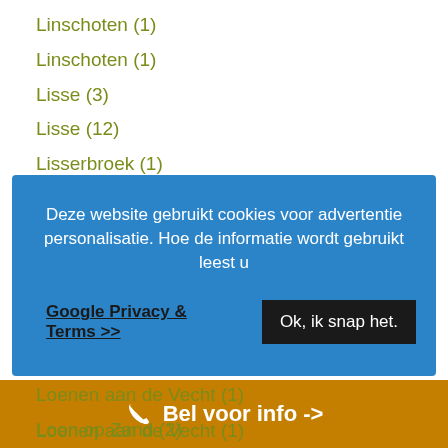Linschoten (1)
Linschoten (1)
Lisse (3)
Lisse (12)
Lisserbroek (1)
Littenseradiel (1)
Deze website gebruikt cookies voor advertentie personalisatie. Hoe de informatie wordt gebruikt leest u
Google Privacy & Terms >>
Ok, ik snap het.
Loenen aan de Vecht (1)
Loenen aan de Vecht (1)
Loon op Zand (2)
Loosdrecht (3)
Loosdrecht (9)
Bel voor info ->